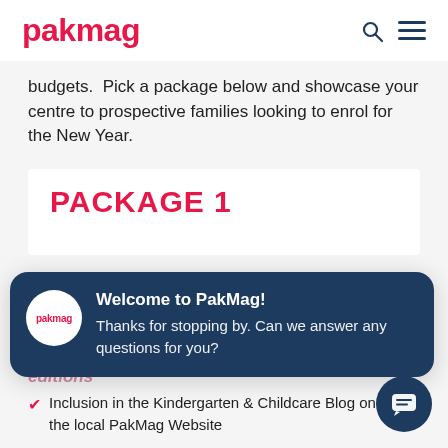pakmag
budgets.  Pick a package below and showcase your centre to prospective families looking to enrol for the New Year.
PACKAGE 1
[Figure (infographic): Chat popup overlay with PakMag logo avatar on dark blue background. Title: 'Welcome to PakMag!' and message: 'Thanks for stopping by. Can we answer any questions for you?'. Behind the popup, partially visible pink italic text about Quarter page placement in Jan, Feb 2022 editions.]
Inclusion in the Kindergarten & Childcare Blog on the local PakMag Website